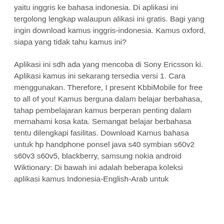yaitu inggris ke bahasa indonesia. Di aplikasi ini tergolong lengkap walaupun alikasi ini gratis. Bagi yang ingin download kamus inggris-indonesia. Kamus oxford, siapa yang tidak tahu kamus ini?
Aplikasi ini sdh ada yang mencoba di Sony Ericsson ki. Aplikasi kamus ini sekarang tersedia versi 1. Cara menggunakan. Therefore, I present KbbiMobile for free to all of you! Kamus berguna dalam belajar berbahasa, tahap pembelajaran kamus berperan penting dalam memahami kosa kata. Semangat belajar berbahasa tentu dilengkapi fasilitas. Download Kamus bahasa untuk hp handphone ponsel java s40 symbian s60v2 s60v3 s60v5, blackberry, samsung nokia android Wiktionary: Di bawah ini adalah beberapa koleksi aplikasi kamus Indonesia-English-Arab untuk